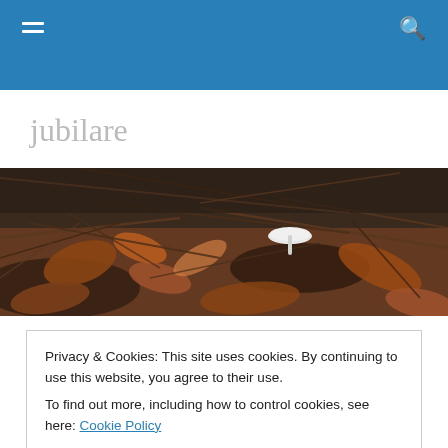jubilare — navigation header with menu and search icons
jubilare
[Figure (photo): Close-up photo of a forest floor with brown autumn leaves, twigs, and a small white mushroom in the center-right area against a dark background.]
Out of the Silence Comes Pumpkin Pie
Privacy & Cookies: This site uses cookies. By continuing to use this website, you agree to their use.
To find out more, including how to control cookies, see here: Cookie Policy
Close and accept